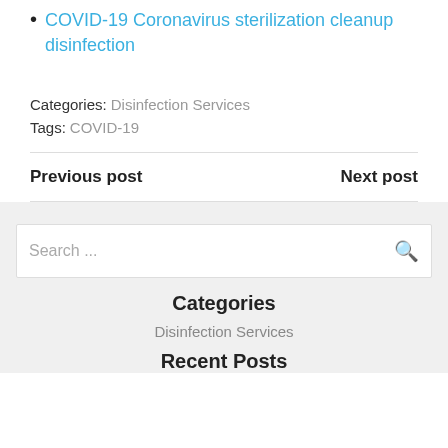COVID-19 Coronavirus sterilization cleanup disinfection
Categories: Disinfection Services
Tags: COVID-19
Previous post    Next post
Search ...
Categories
Disinfection Services
Recent Posts